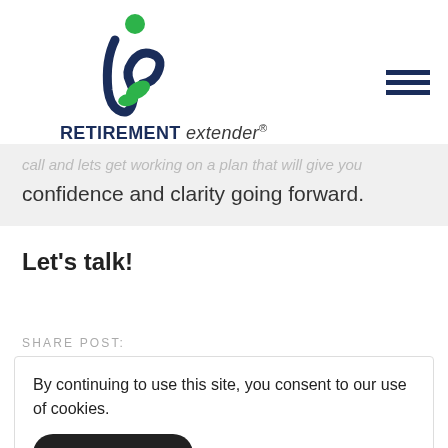[Figure (logo): Retirement Extender logo: stylized blue 'r' with green leaf/figure element above, and italic 'extender' brand text]
call and lets get working on a plan that will give you confidence and clarity going forward.
Let's talk!
SHARE POST:
By continuing to use this site, you consent to our use of cookies.
ACCEPT